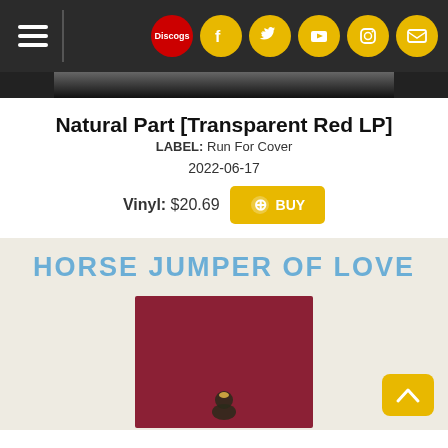Navigation bar with Discogs logo and social media icons
Natural Part [Transparent Red LP]
LABEL: Run For Cover
2022-06-17
Vinyl: $20.69  BUY
[Figure (photo): Album art for Horse Jumper of Love - Natural Part. Cream/beige background with hand-lettered blue text 'HORSE JUMPER OF LOVE' at top. Large dark red/maroon square in center with a bird illustration at the bottom.]